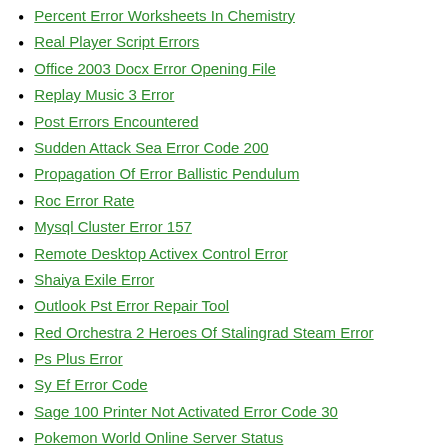Percent Error Worksheets In Chemistry
Real Player Script Errors
Office 2003 Docx Error Opening File
Replay Music 3 Error
Post Errors Encountered
Sudden Attack Sea Error Code 200
Propagation Of Error Ballistic Pendulum
Roc Error Rate
Mysql Cluster Error 157
Remote Desktop Activex Control Error
Shaiya Exile Error
Outlook Pst Error Repair Tool
Red Orchestra 2 Heroes Of Stalingrad Steam Error
Ps Plus Error
Sy Ef Error Code
Sage 100 Printer Not Activated Error Code 30
Pokemon World Online Server Status
Secure Disk Erase Failed With The Error Could Not Unmount Disk